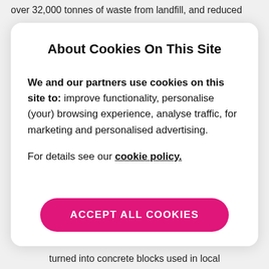over 32,000 tonnes of waste from landfill, and reduced
About Cookies On This Site
We and our partners use cookies on this site to: improve functionality, personalise (your) browsing experience, analyse traffic, for marketing and personalised advertising.
For details see our cookie policy.
ACCEPT ALL COOKIES
turned into concrete blocks used in local